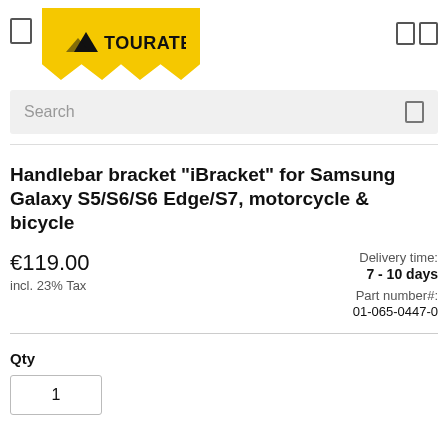[Figure (logo): Touratech logo on yellow badge background with mountain/arrow icon]
Handlebar bracket "iBracket" for Samsung Galaxy S5/S6/S6 Edge/S7, motorcycle & bicycle
Delivery time: 7 - 10 days
€119.00
incl. 23% Tax
Part number#: 01-065-0447-0
Qty
1